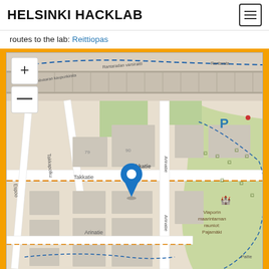HELSINKI HACKLAB
routes to the lab: Reittiopas
[Figure (map): OpenStreetMap showing the area around Takkatie in Espoo/Helsinki, Finland. A blue location pin marks the Helsinki Hacklab location on Takkatie. Street names visible include Takkatie, Arinatie, Takkapolku, Rantaradan varsiraitti, Rantarata, Leppävaaran kaupunkirata, and Espoo. A blue dashed cycling/pedestrian route outline is visible. A parking symbol (P) is shown in the upper right. 'Viaporin maarintaman rauniot: Pajamäki' and 'Patte' are labeled in the lower right (green area). Map zoom controls (+/-) are in the upper left.]